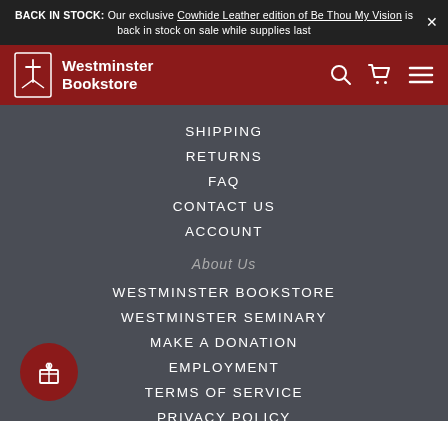BACK IN STOCK: Our exclusive Cowhide Leather edition of Be Thou My Vision is back in stock on sale while supplies last
[Figure (logo): Westminster Bookstore logo with cross bookmark icon]
SHIPPING
RETURNS
FAQ
CONTACT US
ACCOUNT
About Us
WESTMINSTER BOOKSTORE
WESTMINSTER SEMINARY
MAKE A DONATION
EMPLOYMENT
TERMS OF SERVICE
PRIVACY POLICY
CCPA